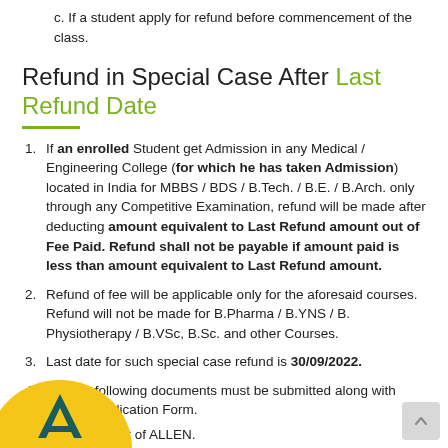c. If a student apply for refund before commencement of the class.
Refund in Special Case After Last Refund Date
1. If an enrolled Student get Admission in any Medical / Engineering College (for which he has taken Admission) located in India for MBBS / BDS / B.Tech. / B.E. / B.Arch. only through any Competitive Examination, refund will be made after deducting amount equivalent to Last Refund amount out of Fee Paid. Refund shall not be payable if amount paid is less than amount equivalent to Last Refund amount.
2. Refund of fee will be applicable only for the aforesaid courses. Refund will not be made for B.Pharma / B.YNS / B. Physiotherapy / B.VSc, B.Sc. and other Courses.
3. Last date for such special case refund is 30/09/2022.
4. For this following documents must be submitted along with Refund Application Form.
e Receipt of ALLEN.
[Figure (logo): ALLEN logo - yellow and teal circular logo with letter A in teal/dark green]